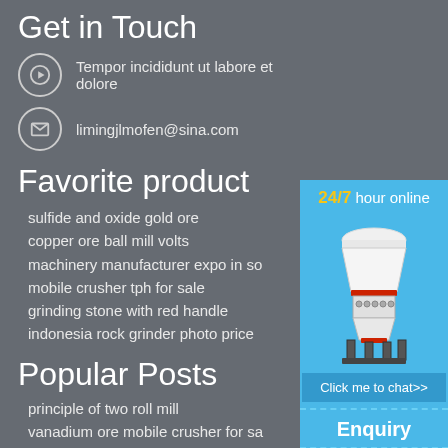Get in Touch
Tempor incididunt ut labore et dolore
limingjlmofen@sina.com
Favorite product
sulfide and oxide gold ore
copper ore ball mill volts
machinery manufacturer expo in so
mobile crusher tph for sale
grinding stone with red handle
indonesia rock grinder photo price
Popular Posts
principle of two roll mill
vanadium ore mobile crusher for sa
cement grinding unit manufacturer
copper concentrate production equi
[Figure (illustration): Industrial cone crusher machine, white and red, on a blue background panel with '24/7 hour online' text, a 'Click me to chat>>' button, an 'Enquiry' section, and 'limingjlmofen' branding]